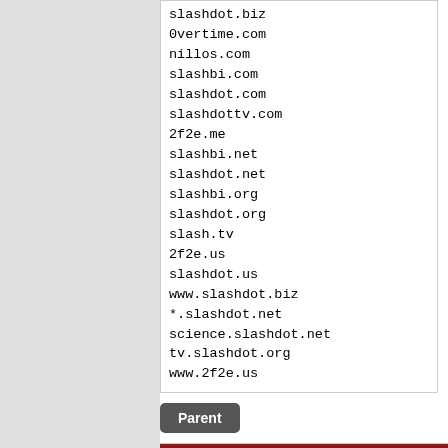slashdot.biz
0vertime.com
nillos.com
slashbi.com
slashdot.com
slashdottv.com
2f2e.me
slashbi.net
slashdot.net
slashbi.org
slashdot.org
slash.tv
2f2e.us
slashdot.us
www.slashdot.biz
*.slashdot.net
science.slashdot.net
tv.slashdot.org
www.2f2e.us
Parent
Happy to help! (Score: 2)
by martyb (76) ⭐ on Wednesday August 10 2...